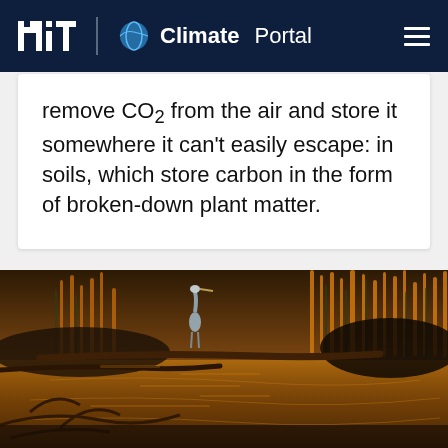MIT Climate Portal
remove CO2 from the air and store it somewhere it can't easily escape: in soils, which store carbon in the form of broken-down plant matter.
[Figure (photo): A great blue heron standing on a fallen log in a wetland marsh with golden autumn grasses and water reflecting orange tones.]